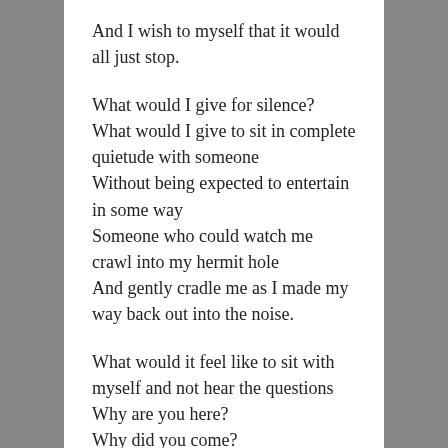And I wish to myself that it would all just stop.
What would I give for silence?
What would I give to sit in complete quietude with someone
Without being expected to entertain in some way
Someone who could watch me crawl into my hermit hole
And gently cradle me as I made my way back out into the noise.
What would it feel like to sit with myself and not hear the questions
Why are you here?
Why did you come?